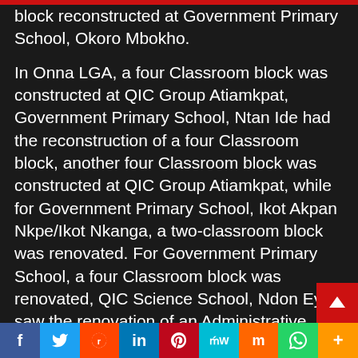block reconstructed at Government Primary School, Okoro Mbokho.
In Onna LGA, a four Classroom block was constructed at QIC Group Atiamkpat, Government Primary School, Ntan Ide had the reconstruction of a four Classroom block, another four Classroom block was constructed at QIC Group Atiamkpat, while for Government Primary School, Ikot Akpan Nkpe/Ikot Nkanga, a two-classroom block was renovated. For Government Primary School, a four Classroom block was renovated, QIC Science School, Ndon Eyo saw the renovation of an Administrative Block, a four Dining Hall was also renovated at QIC Science School, Ndon Eyo, while QIC Group School in Ndon Eyo had a reconstru
f | Twitter | Reddit | in | Pinterest | MW | Mix | WhatsApp | More